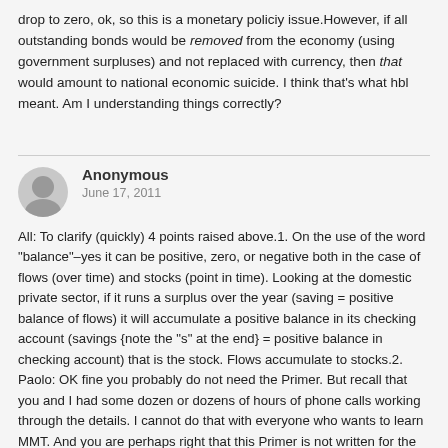drop to zero, ok, so this is a monetary policiy issue.However, if all outstanding bonds would be removed from the economy (using government surpluses) and not replaced with currency, then that would amount to national economic suicide. I think that's what hbl meant. Am I understanding things correctly?
Anonymous
June 17, 2011
All: To clarify (quickly) 4 points raised above.1. On the use of the word "balance"–yes it can be positive, zero, or negative both in the case of flows (over time) and stocks (point in time). Looking at the domestic private sector, if it runs a surplus over the year (saving = positive balance of flows) it will accumulate a positive balance in its checking account (savings {note the "s" at the end} = positive balance in checking account) that is the stock. Flows accumulate to stocks.2. Paolo: OK fine you probably do not need the Primer. But recall that you and I had some dozen or dozens of hours of phone calls working through the details. I cannot do that with everyone who wants to learn MMT. And you are perhaps right that this Primer is not written for the taxi driver. But I think there is an Italian taxi driver reading the Primer so let us see what she thinks.3.